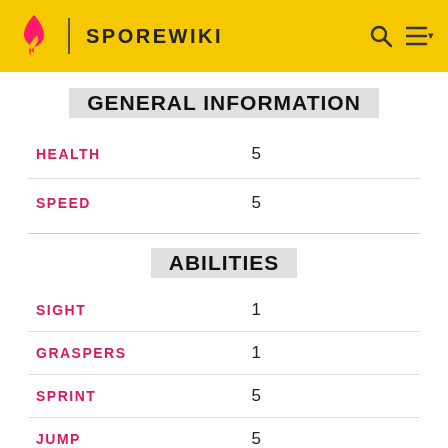SPOREWIKI
GENERAL INFORMATION
| Attribute | Value |
| --- | --- |
| HEALTH | 5 |
| SPEED | 5 |
ABILITIES
| Attribute | Value |
| --- | --- |
| SIGHT | 1 |
| GRASPERS | 1 |
| SPRINT | 5 |
| JUMP | 5 |